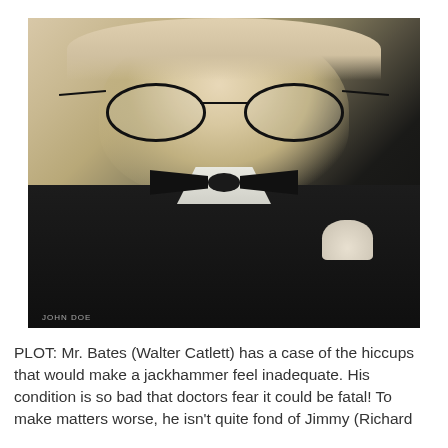[Figure (photo): Black and white portrait photo of a man (Walter Catlett) wearing round glasses, a black bow tie, and a dark suit jacket with a light pocket square. He has a broad smile and is looking slightly upward toward the camera.]
PLOT: Mr. Bates (Walter Catlett) has a case of the hiccups that would make a jackhammer feel inadequate. His condition is so bad that doctors fear it could be fatal! To make matters worse, he isn't quite fond of Jimmy (Richard ...